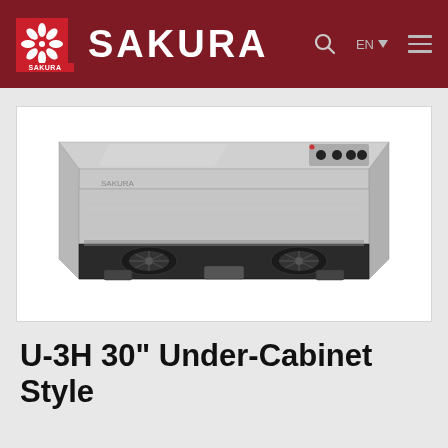SAKURA
[Figure (photo): Sakura U-3H 30-inch under-cabinet range hood in stainless steel finish, viewed from below-front angle, showing filter grilles, controls, and fans.]
U-3H 30" Under-Cabinet Style